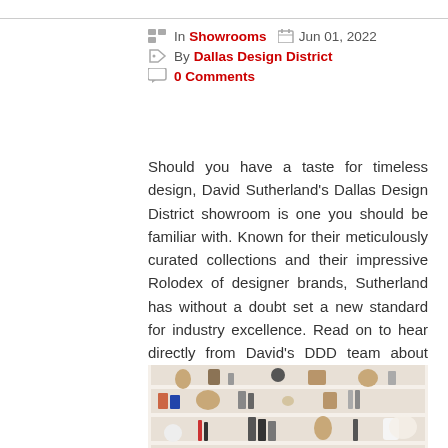In Showrooms  Jun 01, 2022  By Dallas Design District  0 Comments
Should you have a taste for timeless design, David Sutherland's Dallas Design District showroom is one you should be familiar with. Known for their meticulously curated collections and their impressive Rolodex of designer brands, Sutherland has without a doubt set a new standard for industry excellence. Read on to hear directly from David's DDD team about what sets their showroom and shopping experience apart from the rest.
[Figure (photo): Interior photo of a white shelving unit displaying decorative objects including vases, books, bowls, and ornaments in a showroom setting.]